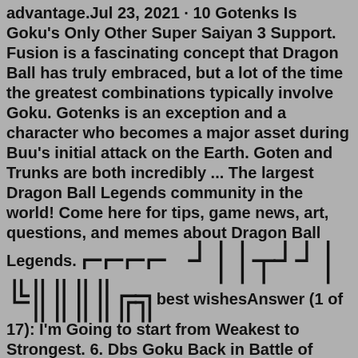advantage.Jul 23, 2021 · 10 Gotenks Is Goku's Only Other Super Saiyan 3 Support. Fusion is a fascinating concept that Dragon Ball has truly embraced, but a lot of the time the greatest combinations typically involve Goku. Gotenks is an exception and a character who becomes a major asset during Buu's initial attack on the Earth. Goten and Trunks are both incredibly ... The largest Dragon Ball Legends community in the world! Come here for tips, game news, art, questions, and memes about Dragon Ball Legends. [barcode symbols] best wishesAnswer (1 of 17): I'm Going to start from Weakest to Strongest. 6. Dbs Goku Back in Battle of gods and Begining of Super, Goku and Beerus where threantening to destroy the macrocosm of universe 7(Also the other universes) there shockwaves was created by God Goku And Beerus punches to one anothe... Tier L3-A Height Around 4 feet (base), taller than 5'9 (Super Saiyan 4) Destructive Capabilities 3-A Penetration Duration